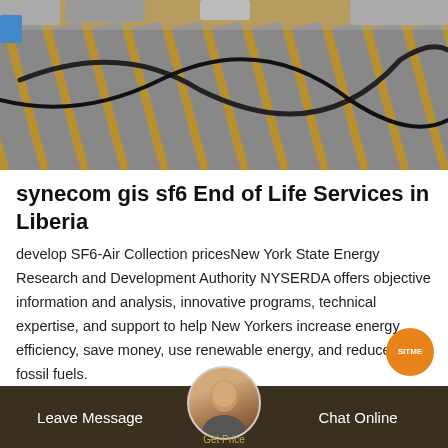[Figure (photo): Photo of industrial floor with yellow and grey striped pattern and dark cables/hoses laid out in curved pattern, with machinery visible in background]
synecom gis sf6 End of Life Services in Liberia
develop SF6-Air Collection pricesNew York State Energy Research and Development Authority NYSERDA offers objective information and analysis, innovative programs, technical expertise, and support to help New Yorkers increase energy efficiency, save money, use renewable energy, and reduce re on fossil fuels.
Leave Message   Get Price   Chat Online